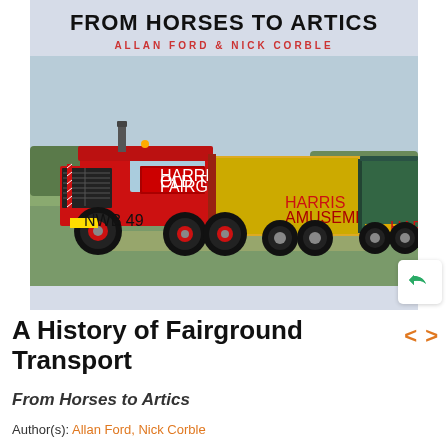[Figure (photo): Book cover of 'A History of Fairground Transport: From Horses to Artics' by Allan Ford and Nick Corble. Shows a large red vintage truck (Harris fairground vehicle) pulling yellow trailers on a grass field.]
A History of Fairground Transport
From Horses to Artics
Author(s): Allan Ford, Nick Corble